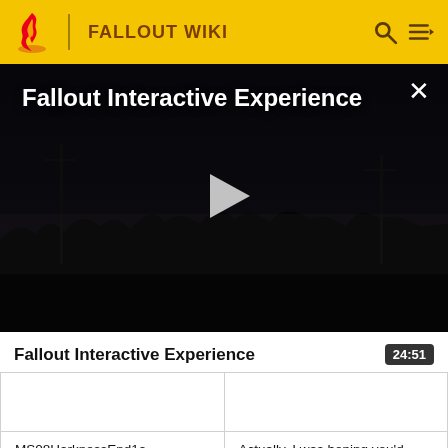FALLOUT WIKI
[Figure (screenshot): Fallout Interactive Experience video thumbnail showing a dark post-apocalyptic landscape with a play button overlay. Title reads 'Fallout Interactive Experience'. Close button (×) in top-right corner.]
Fallout Interactive Experience
|  |  |
| MS08HarknessEnd1a | Actually, I was hoping you'd |